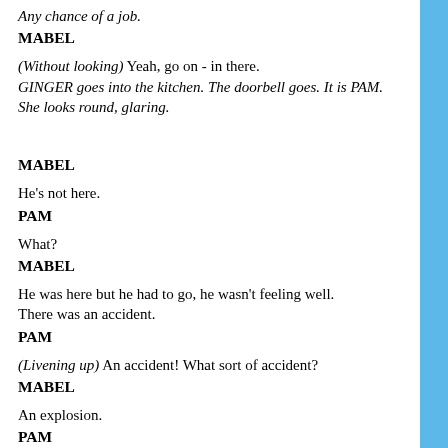Any chance of a job?
MABEL
(Without looking) Yeah, go on - in there.
GINGER goes into the kitchen. The doorbell goes. It is PAM. She looks round, glaring.
MABEL
He's not here.
PAM
What?
MABEL
He was here but he had to go, he wasn't feeling well.
There was an accident.
PAM
(Livening up) An accident! What sort of accident?
MABEL
An explosion.
PAM